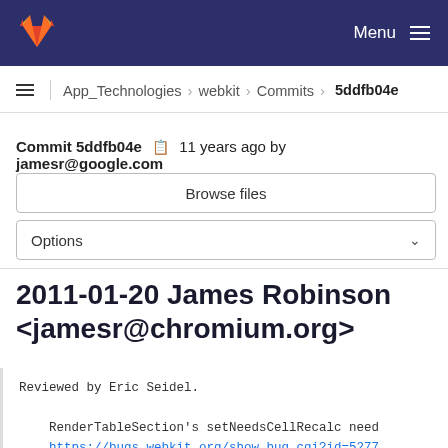GitLab navigation bar with logo and Menu
App_Technologies > webkit > Commits > 5ddfb04e
Commit 5ddfb04e  11 years ago by jamesr@google.com
Browse files
Options
2011-01-20 James Robinson <jamesr@chromium.org>
Reviewed by Eric Seidel.

RenderTableSection's setNeedsCellRecalc need
https://bugs.webkit.org/show_bug.cgi?id=5277

Tests ::-webkit-scrollbar-corner inside a ta